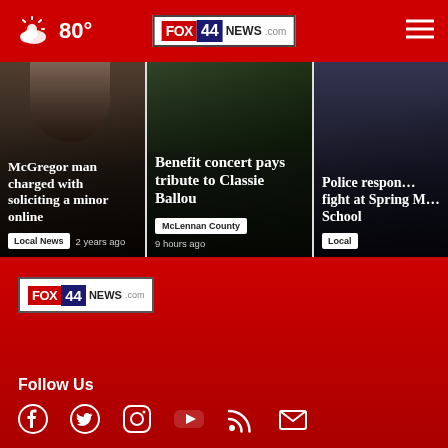80° FOX 44 NEWS.com
[Figure (screenshot): News card: McGregor man charged with soliciting a minor online — Local News — 2 years ago]
[Figure (screenshot): News card: Benefit concert pays tribute to Classie Ballou — McLennan County — 9 hours ago]
[Figure (screenshot): News card: Police respond fight at Spring M… School — Local]
[Figure (logo): FOX 44 NEWS.com logo in footer]
Follow Us
[Figure (infographic): Social media icons: Facebook, Twitter, Instagram, YouTube, RSS, Email]